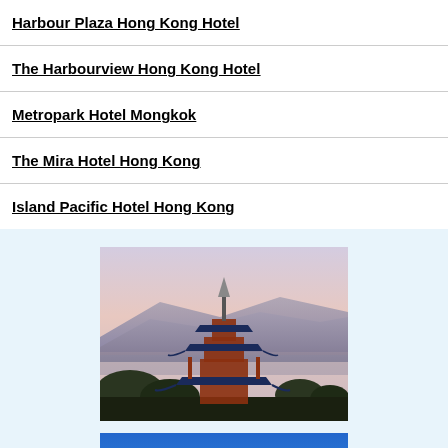Harbour Plaza Hong Kong Hotel
The Harbourview Hong Kong Hotel
Metropark Hotel Mongkok
The Mira Hotel Hong Kong
Island Pacific Hotel Hong Kong
[Figure (photo): A Japanese pagoda temple (likely Kiyomizu-dera in Kyoto) photographed at dusk/dawn with mountains and city lights visible in the background. Multi-tiered pagoda with blue-tiled roofs and red wooden structure, surrounded by trees.]
[Figure (photo): Partial view of a second photo showing a blue sky, partially cut off at the bottom of the page.]